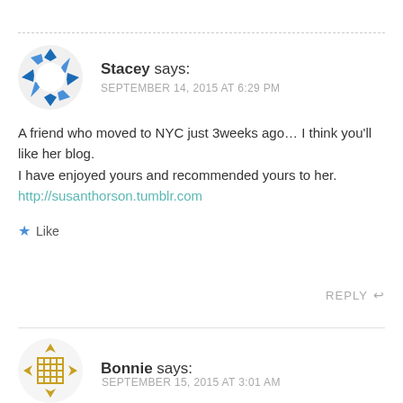[Figure (illustration): Blue and white circular gear/pinwheel avatar icon for user Stacey]
Stacey says:
SEPTEMBER 14, 2015 AT 6:29 PM
A friend who moved to NYC just 3weeks ago… I think you'll like her blog.
I have enjoyed yours and recommended yours to her.
http://susanthorson.tumblr.com
★ Like
REPLY ↩
[Figure (illustration): Yellow/gold geometric grid pattern avatar icon for user Bonnie]
Bonnie says:
SEPTEMBER 15, 2015 AT 3:01 AM